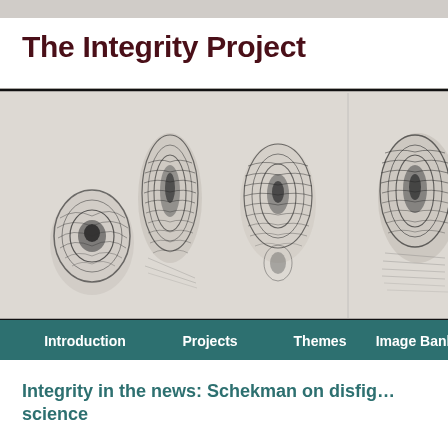The Integrity Project
[Figure (photo): Close-up photograph of multiple fingerprints on a light grey background, showing dark ink impressions of fingertips with ridge detail]
Introduction   Projects   Themes   Image Bank
Integrity in the news: Schekman on disfig… science